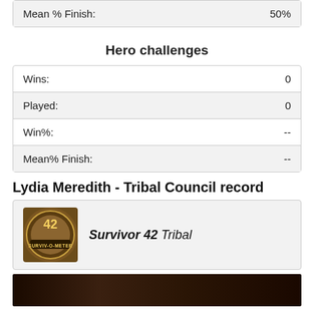| Stat | Value |
| --- | --- |
| Mean % Finish: | 50% |
Hero challenges
| Stat | Value |
| --- | --- |
| Wins: | 0 |
| Played: | 0 |
| Win%: | -- |
| Mean% Finish: | -- |
Lydia Meredith - Tribal Council record
[Figure (logo): Survivor 42 Tribal logo with circular badge graphic and text SURVIV-O-METER]
Survivor 42 Tribal
[Figure (photo): Dark image strip showing tribal council scene]